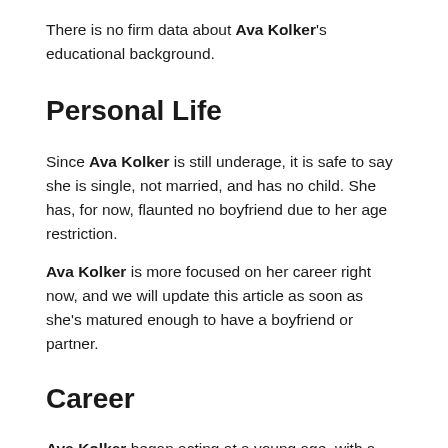There is no firm data about Ava Kolker's educational background.
Personal Life
Since Ava Kolker is still underage, it is safe to say she is single, not married, and has no child. She has, for now, flaunted no boyfriend due to her age restriction.
Ava Kolker is more focused on her career right now, and we will update this article as soon as she's matured enough to have a boyfriend or partner.
Career
Ava Kolker began acting at a young age, with a cameo role on the horror television series American Horror